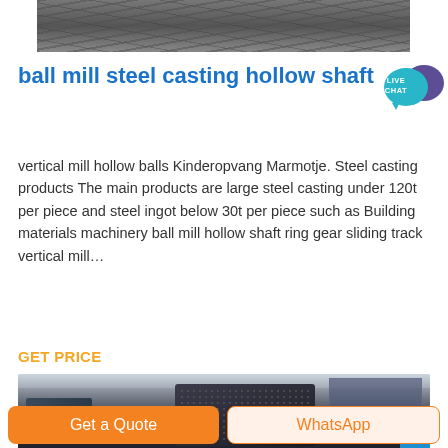[Figure (photo): Top image showing industrial surface or ground material, dark grey textured]
ball mill steel casting hollow shaft
[Figure (illustration): Live Chat speech bubble badge in teal/purple]
vertical mill hollow balls Kinderopvang Marmotje. Steel casting products The main products are large steel casting under 120t per piece and steel ingot below 30t per piece such as Building materials machinery ball mill hollow shaft ring gear sliding track vertical mill…
GET PRICE
[Figure (photo): Industrial equipment photo showing large machinery at an exhibition or factory floor]
Get a Quote
WhatsApp